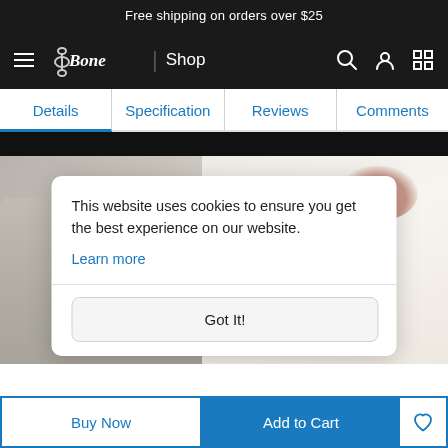Free shipping on orders over $25
[Figure (screenshot): Bone shop website navigation bar with hamburger menu, Bone logo, Shop label, and search/user/grid icons on dark background]
Details | Specification | Reviews | Comments
[Figure (photo): Product lifestyle photo showing person in white sweater, partially visible, with cookie consent popup overlay]
This website uses cookies to ensure you get the best experience on our website.
Learn more
Got It!
Buy Now
Add to Cart